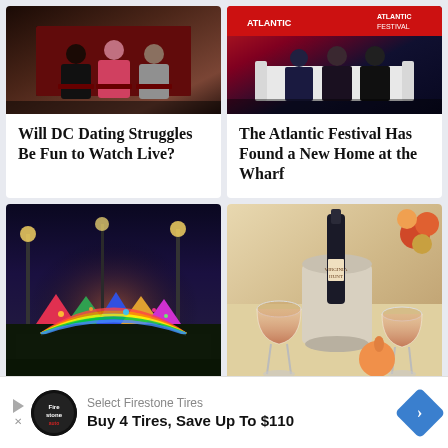[Figure (photo): People seated on red chairs on a stage, panel discussion setting with dark background]
Will DC Dating Struggles Be Fun to Watch Live?
[Figure (photo): Panel discussion at The Atlantic Festival, people seated on white sofa with red festival backdrop]
The Atlantic Festival Has Found a New Home at the Wharf
[Figure (photo): Aerial night view of an outdoor fair/carnival with colorful tents, lights and crowds]
[Figure (photo): Close-up of wine glasses and a bottle in an ice bucket with peaches and flowers]
Select Firestone Tires
Buy 4 Tires, Save Up To $110